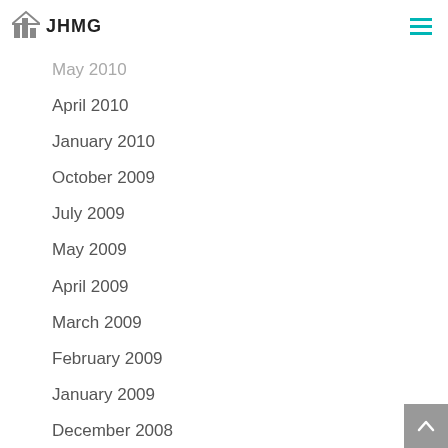JHMG
May 2010
April 2010
January 2010
October 2009
July 2009
May 2009
April 2009
March 2009
February 2009
January 2009
December 2008
November 2008